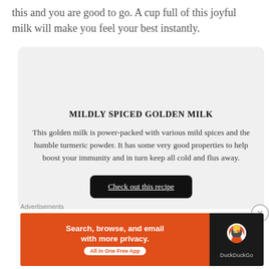this and you are good to go. A cup full of this joyful milk will make you feel your best instantly.
[Figure (infographic): Card with title MILDLY SPICED GOLDEN MILK, descriptive text about golden milk properties, and a black button labeled Check out this recipe]
MILDLY SPICED GOLDEN MILK
This golden milk is power-packed with various mild spices and the humble turmeric powder. It has some very good properties to help boost your immunity and in turn keep all cold and flus away.
Check out this recipe
Advertisements
[Figure (screenshot): DuckDuckGo advertisement banner: orange left section with text 'Search, browse, and email with more privacy. All in One Free App', dark right section with DuckDuckGo duck logo and brand name]